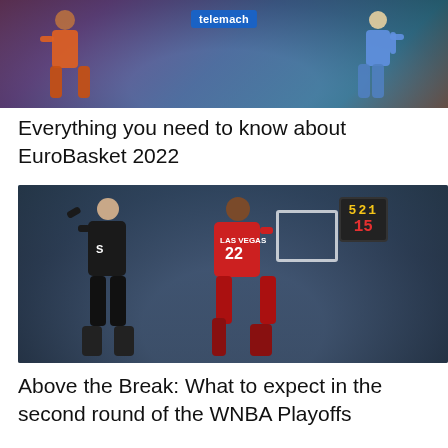[Figure (photo): EuroBasket 2022 promotional image showing basketball players on a colorful gradient background with Telemach sponsor logo]
Everything you need to know about EuroBasket 2022
[Figure (photo): WNBA playoff game photo showing a Seattle Storm player in black jersey shooting while a Las Vegas Aces player number 22 in red jersey looks on, with scoreboard and basketball hoop in background]
Above the Break: What to expect in the second round of the WNBA Playoffs